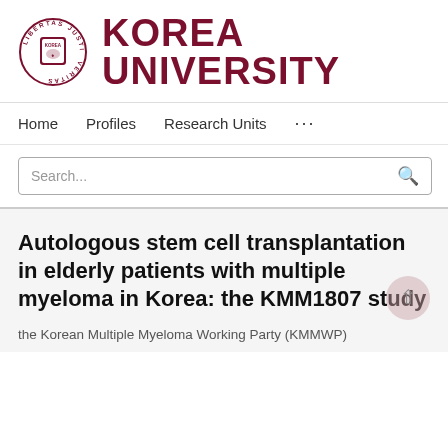[Figure (logo): Korea University logo: circular seal with Latin text LIBERTAS JUSTITIA VERITAS around the border, and KOREA text with shield emblem in center, plus large KOREA UNIVERSITY text to the right]
Home   Profiles   Research Units   ...
Search...
Autologous stem cell transplantation in elderly patients with multiple myeloma in Korea: the KMM1807 study
the Korean Multiple Myeloma Working Party (KMMWP)